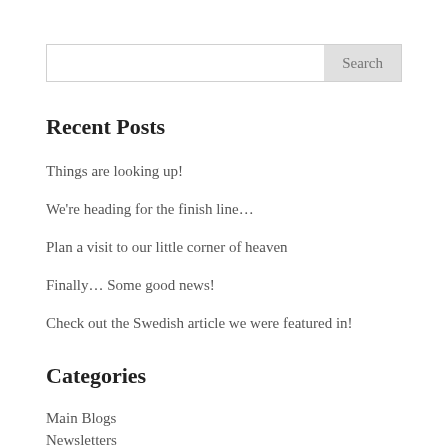[Figure (screenshot): Search bar with text input field and Search button]
Recent Posts
Things are looking up!
We're heading for the finish line…
Plan a visit to our little corner of heaven
Finally… Some good news!
Check out the Swedish article we were featured in!
Categories
Main Blogs
Newsletters